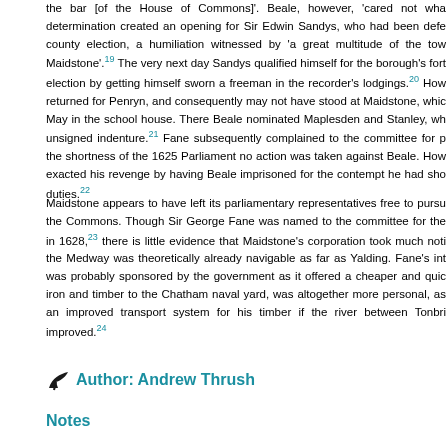the bar [of the House of Commons]'. Beale, however, 'cared not wha determination created an opening for Sir Edwin Sandys, who had been defe county election, a humiliation witnessed by 'a great multitude of the tow Maidstone'.19 The very next day Sandys qualified himself for the borough's fort election by getting himself sworn a freeman in the recorder's lodgings.20 How returned for Penryn, and consequently may not have stood at Maidstone, whic May in the school house. There Beale nominated Maplesden and Stanley, wh unsigned indenture.21 Fane subsequently complained to the committee for p the shortness of the 1625 Parliament no action was taken against Beale. How exacted his revenge by having Beale imprisoned for the contempt he had sh duties.22
Maidstone appears to have left its parliamentary representatives free to pursu the Commons. Though Sir George Fane was named to the committee for the in 1628,23 there is little evidence that Maidstone's corporation took much noti the Medway was theoretically already navigable as far as Yalding. Fane's int was probably sponsored by the government as it offered a cheaper and quic iron and timber to the Chatham naval yard, was altogether more personal, as an improved transport system for his timber if the river between Tonbri improved.24
Author: Andrew Thrush
Notes